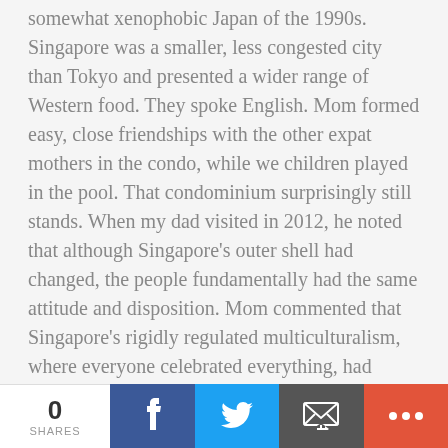somewhat xenophobic Japan of the 1990s. Singapore was a smaller, less congested city than Tokyo and presented a wider range of Western food. They spoke English. Mom formed easy, close friendships with the other expat mothers in the condo, while we children played in the pool. That condominium surprisingly still stands. When my dad visited in 2012, he noted that although Singapore's outer shell had changed, the people fundamentally had the same attitude and disposition. Mom commented that Singapore's rigidly regulated multiculturalism, where everyone celebrated everything, had created a diluted culture 20 years ago and that today the city feels even more sanitized; in many ways, Singapore no longer feels like an Asian city.
Ironically, the move from Singapore to the U.S. was the hardest by far. When we were in Asia, we were expats and
0 SHARES | Facebook | Twitter | Email | +